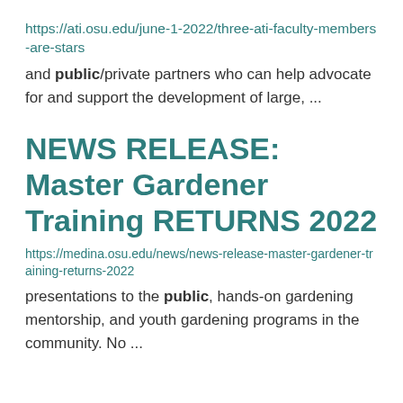https://ati.osu.edu/june-1-2022/three-ati-faculty-members-are-stars
and public/private partners who can help advocate for and support the development of large, ...
NEWS RELEASE: Master Gardener Training RETURNS 2022
https://medina.osu.edu/news/news-release-master-gardener-training-returns-2022
presentations to the public, hands-on gardening mentorship, and youth gardening programs in the community. No ...